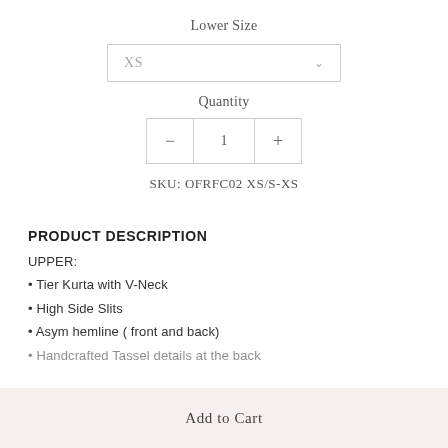Lower Size
[Figure (screenshot): Dropdown selector showing XS with a chevron arrow]
Quantity
[Figure (screenshot): Quantity selector with minus button, value 1, and plus button]
SKU: OFRFC02 XS/S-XS
PRODUCT DESCRIPTION
UPPER:
Tier Kurta with V-Neck
High Side Slits
Asym hemline ( front and back)
Handcrafted Tassel details at the back
Add to Cart